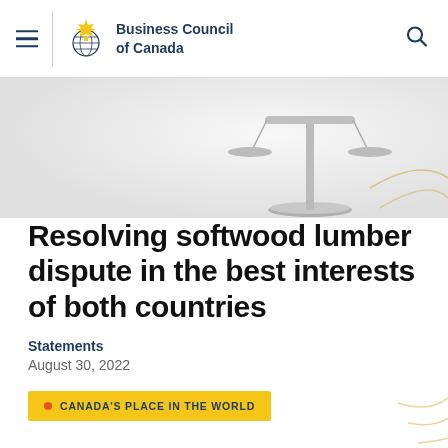Business Council of Canada
[Figure (photo): Partial view of a balance scale (scales of justice) on a light gray background, viewed from above at an angle]
Resolving softwood lumber dispute in the best interests of both countries
Statements
August 30, 2022
CANADA'S PLACE IN THE WORLD